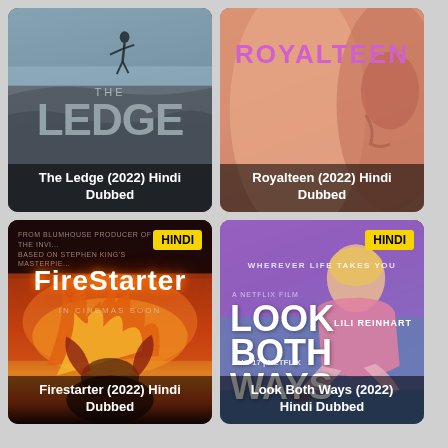[Figure (photo): Movie poster for The Ledge (2022) - rock climbing scene with title text overlay]
The Ledge (2022) Hindi Dubbed
[Figure (photo): Movie poster for Royalteen (2022) - close up of two faces with pink/purple title text]
Royalteen (2022) Hindi Dubbed
[Figure (photo): Movie poster for Firestarter (2022) - fire and girl with HINDI badge]
Firestarter (2022) Hindi Dubbed
[Figure (photo): Movie poster for Look Both Ways (2022) - Lili Reinhart Netflix film with HINDI badge]
Look Both Ways (2022) Hindi Dubbed